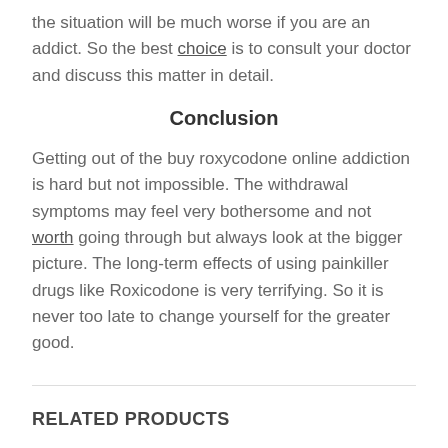the situation will be much worse if you are an addict. So the best choice is to consult your doctor and discuss this matter in detail.
Conclusion
Getting out of the buy roxycodone online addiction is hard but not impossible. The withdrawal symptoms may feel very bothersome and not worth going through but always look at the bigger picture. The long-term effects of using painkiller drugs like Roxicodone is very terrifying. So it is never too late to change yourself for the greater good.
RELATED PRODUCTS